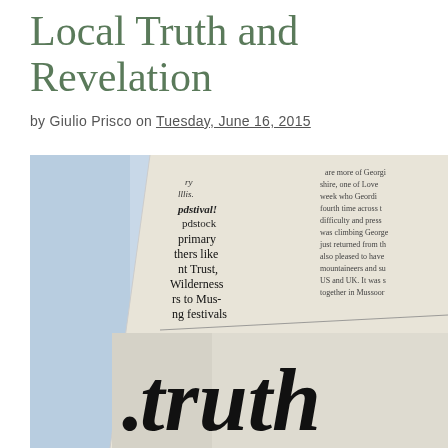Local Truth and Revelation
by Giulio Prisco on Tuesday, June 16, 2015
[Figure (photo): Close-up photograph of a newspaper page with columns of text visible, and the word 'truth' printed in large bold serif letters at the bottom of the image. The newspaper is folded at an angle against a light blue background.]